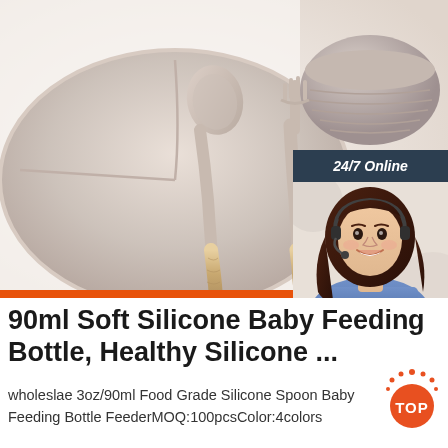[Figure (photo): Product photo of silicone baby feeding set — divided plate/bowl in beige/taupe, with spoon and fork having wooden handles, on white background. Overlay chat widget showing woman with headset, '24/7 Online' header, 'Click here for free chat!' text, and orange QUOTATION button.]
90ml Soft Silicone Baby Feeding Bottle, Healthy Silicone ...
wholeslae 3oz/90ml Food Grade Silicone Spoon Baby Feeding Bottle FeederMOQ:100pcsColor:4colors